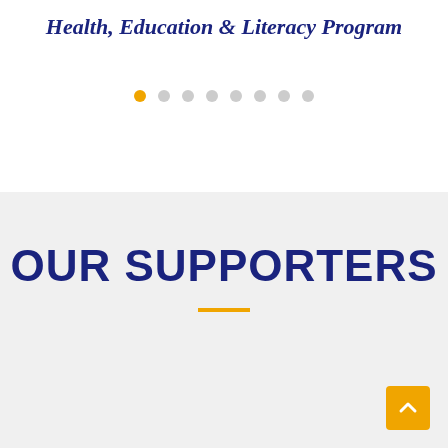Health, Education & Literacy Program
[Figure (other): Carousel navigation dots: one active orange dot followed by seven inactive grey dots]
OUR SUPPORTERS
[Figure (other): Orange horizontal divider line beneath OUR SUPPORTERS heading]
[Figure (other): Back to top button: orange rounded square with upward chevron arrow, positioned bottom-right]